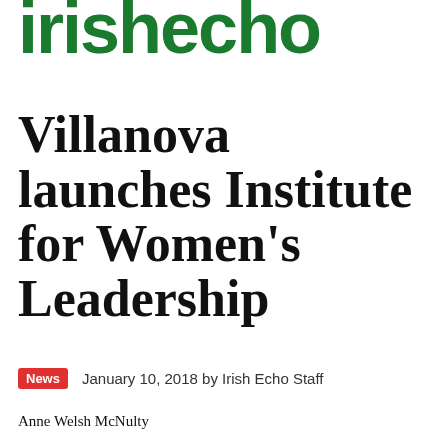irishecho
Villanova launches Institute for Women's Leadership
News   January 10, 2018 by Irish Echo Staff
Anne Welsh McNulty